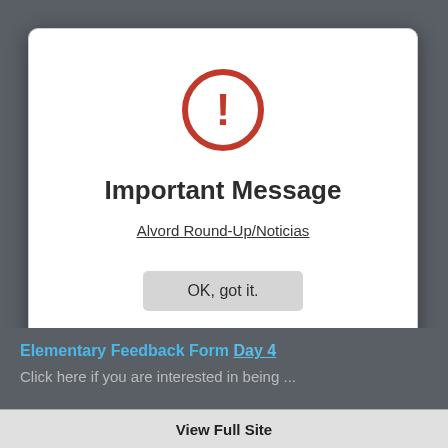[Figure (screenshot): Modal dialog popup with red circle exclamation warning icon, title 'Important Message', link 'Alvord Round-Up/Noticias', and 'OK, got it.' button on a dark grey background]
Important Message
Alvord Round-Up/Noticias
OK, got it.
Elementary Feedback Form Day 4
Click here if you are interested in being...
View Full Site